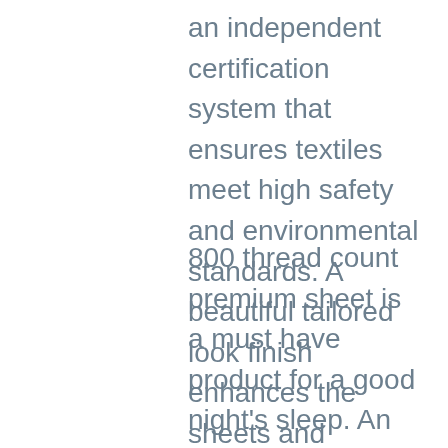an independent certification system that ensures textiles meet high safety and environmental standards. A beautiful tailored look finish enhances the sheets and pillowcases.
800 thread count premium sheet is a must have product for a good night's sleep. An Italian product, this sheet is woven and manufactured from the best cotton of Egypt. The authentic Egyptian cotton is woven finely